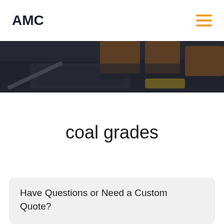AMC
[Figure (photo): Construction workers in orange high-visibility vests leaning over blueprints or plans on a table, with tools visible, viewed from above at waist level. Dark overlay tint applied.]
coal grades
Have Questions or Need a Custom Quote?